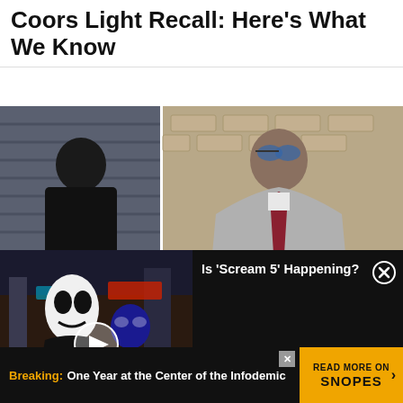Coors Light Recall: Here's What We Know
[Figure (photo): Split image: left side shows a person from behind wearing a black SHERIFF vest; right side shows a man in a grey suit with sunglasses holding items, walking outside near a brick wall.]
[Figure (screenshot): Video overlay showing Ghostface and Spider-Man masked figures in a city street at night, with a play button in the center.]
Is ‘Scream 5’ Happening?
[Figure (infographic): Advertisement banner: Breaking: One Year at the Center of the Infodemic | READ MORE ON SNOPES with arrow button.]